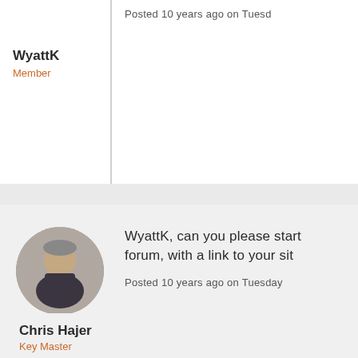Posted 10 years ago on Tuesd
WyattK
Member
WyattK, can you please start forum, with a link to your sit
Posted 10 years ago on Tuesday
[Figure (photo): Circular avatar photo of Chris Hajer, a man in a dark turtleneck]
Chris Hajer
Key Master